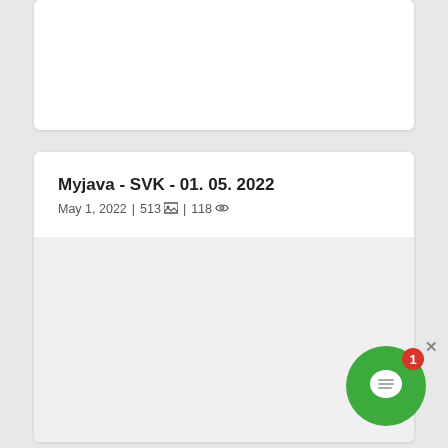[Figure (screenshot): Top card with white background, partially visible, no content shown]
Myjava - SVK - 01. 05. 2022
May 1, 2022 | 513 [image icon] | 118 [eye icon]
[Figure (photo): Light grey image area placeholder inside the main card]
[Figure (other): Green circular chat widget with speech bubble icon and red badge showing '1', with X close button]